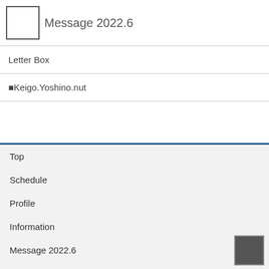Message 2022.6
Letter Box
■Keigo.Yoshino.nut
Top
Schedule
Profile
Information
Message 2022.6
Letter Box